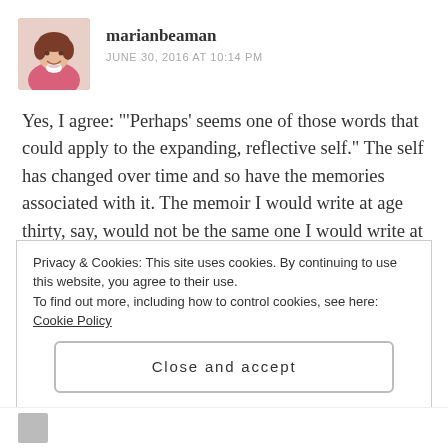[Figure (photo): Profile photo of marianbeaman, a woman with short brown hair wearing a pink jacket]
marianbeaman
JUNE 30, 2016 AT 10:14 PM
Yes, I agree: "'Perhaps' seems one of those words that could apply to the expanding, reflective self." The self has changed over time and so have the memories associated with it. The memoir I would write at age thirty, say, would not be the same one I would write at seventy. Thanks for chiming in here, Susan. And Happy Fourth!
Privacy & Cookies: This site uses cookies. By continuing to use this website, you agree to their use.
To find out more, including how to control cookies, see here: Cookie Policy
Close and accept